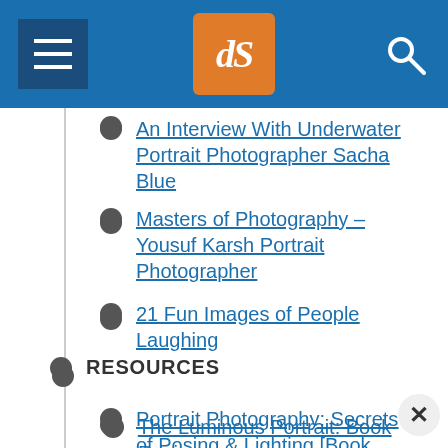dPS navigation menu header
An Interview With Underwater Portrait Photographer Sacha Blue
Masters of Photography – Yousuf Karsh Portrait Photographer
21 Fun Images of People Laughing
RESOURCES
Portrait Photography: Secrets of Posing & Lighting [Book Review]
The Luminous Portrait: Book Review
The Portrait Photography Course by Mark